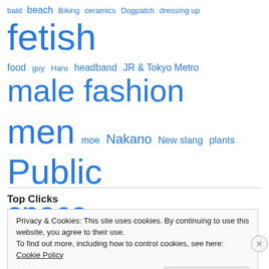bald  beach  Biking  ceramics  Dogpatch  dressing up  fetish
food  guy  Haru  headband  JR & Tokyo Metro  male fashion
men  moe  Nakano  New slang  plants  Public
space  silver pants  transit  Uncanny  Uncategorized
undressing  アキバ系ファッション  エロかわいい  男
Top Clicks
Privacy & Cookies: This site uses cookies. By continuing to use this website, you agree to their use.
To find out more, including how to control cookies, see here: Cookie Policy
Close and accept